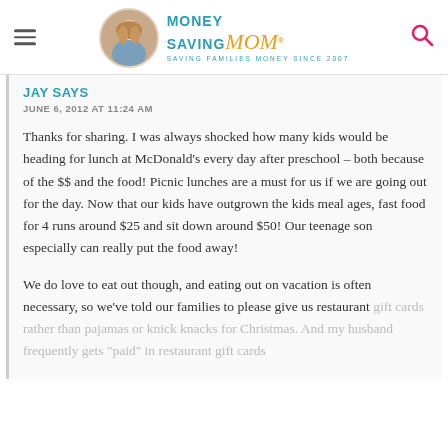Money Saving Mom® — SAVING FAMILIES MONEY SINCE 2007
JAY SAYS
JUNE 6, 2012 AT 11:24 AM
Thanks for sharing. I was always shocked how many kids would be heading for lunch at McDonald's every day after preschool – both because of the $$ and the food! Picnic lunches are a must for us if we are going out for the day. Now that our kids have outgrown the kids meal ages, fast food for 4 runs around $25 and sit down around $50! Our teenage son especially can really put the food away!
We do love to eat out though, and eating out on vacation is often necessary, so we've told our families to please give us restaurant gift cards rather than pajamas or knick knacks for Christmas. And my husband frequently gets "paid" in restaurant gift cards